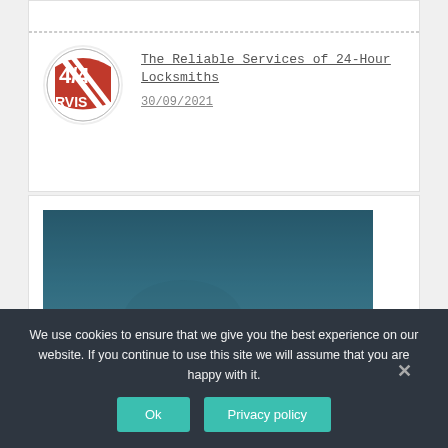[Figure (logo): Circular logo with red and white design showing '4/4' and 'RVIS' text, 24-hour service locksmith logo]
The Reliable Services of 24-Hour Locksmiths
30/09/2021
[Figure (photo): Dark teal/blue sky or background photograph]
We use cookies to ensure that we give you the best experience on our website. If you continue to use this site we will assume that you are happy with it.
Ok
Privacy policy